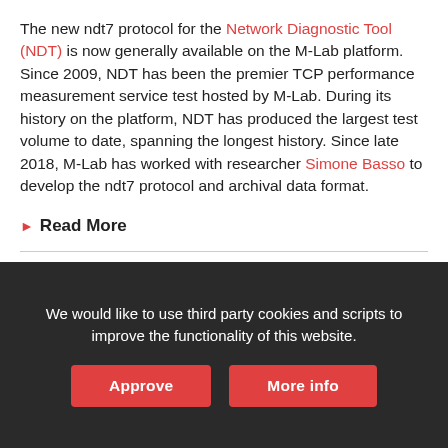The new ndt7 protocol for the Network Diagnostic Tool (NDT) is now generally available on the M-Lab platform. Since 2009, NDT has been the premier TCP performance measurement service test hosted by M-Lab. During its history on the platform, NDT has produced the largest test volume to date, spanning the longest history. Since late 2018, M-Lab has worked with researcher Simone Basso to develop the ndt7 protocol and archival data format.
Read More
We would like to use third party cookies and scripts to improve the functionality of this website.